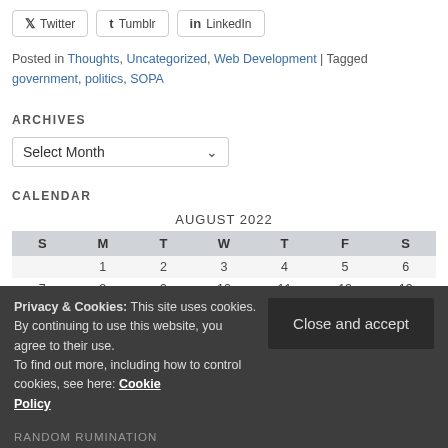[Figure (other): Social share buttons: Twitter, Tumblr, LinkedIn]
Posted in Thoughts, Uncategorized, Web Development | Tagged government, politics, SOPA
ARCHIVES
Select Month (dropdown)
CALENDAR
| S | M | T | W | T | F | S |
| --- | --- | --- | --- | --- | --- | --- |
|  | 1 | 2 | 3 | 4 | 5 | 6 |
| 7 | 8 | 9 | 10 | 11 | 12 | 13 |
| 14 | 15 | 16 | 17 | 18 | 19 | 20 |
| 21 | 22 | 23 | 24 | 25 | 26 | 27 |
| 28 | 29 | 30 | 31 |  |  |  |
Privacy & Cookies: This site uses cookies. By continuing to use this website, you agree to their use. To find out more, including how to control cookies, see here: Cookie Policy
RANDOM RUMINATION